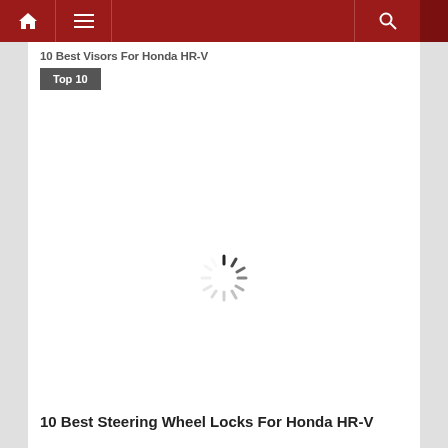Navigation bar with home, menu, and search icons
10 Best Visors For Honda HR-V
Top 10
[Figure (other): Loading spinner / activity indicator]
10 Best Steering Wheel Locks For Honda HR-V